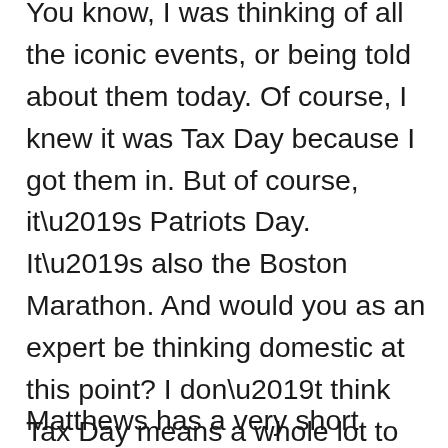You know, I was thinking of all the iconic events, or being told about them today. Of course, I knew it was Tax Day because I got them in. But of course, it’s Patriots Day. It’s also the Boston Marathon. And would you as an expert be thinking domestic at this point? I don’t think Tax Day means a whole lot to the Arab world or Islamic world or the, certainly not to al Qaeda in terms of their world. It doesn’t have any iconic significance.”
Matthews has a very short memory on